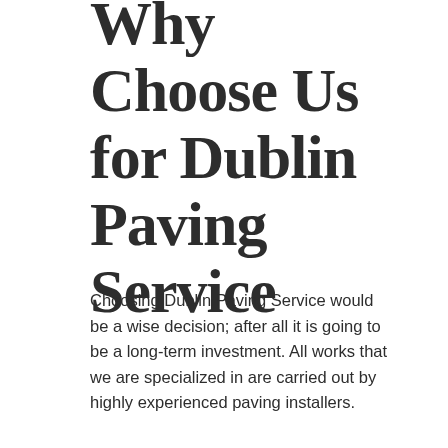Why Choose Us for Dublin Paving Service
Choosing Dublin Paving Service would be a wise decision; after all it is going to be a long-term investment. All works that we are specialized in are carried out by highly experienced paving installers.